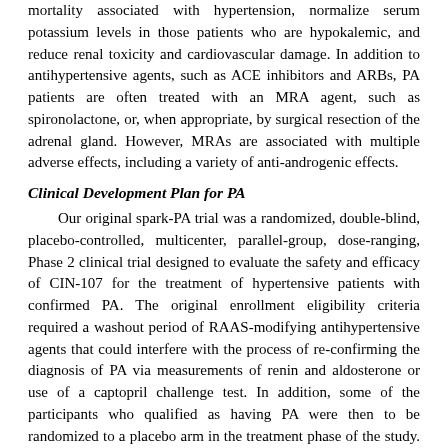mortality associated with hypertension, normalize serum potassium levels in those patients who are hypokalemic, and reduce renal toxicity and cardiovascular damage. In addition to antihypertensive agents, such as ACE inhibitors and ARBs, PA patients are often treated with an MRA agent, such as spironolactone, or, when appropriate, by surgical resection of the adrenal gland. However, MRAs are associated with multiple adverse effects, including a variety of anti-androgenic effects.
Clinical Development Plan for PA
Our original spark-PA trial was a randomized, double-blind, placebo-controlled, multicenter, parallel-group, dose-ranging, Phase 2 clinical trial designed to evaluate the safety and efficacy of CIN-107 for the treatment of hypertensive patients with confirmed PA. The original enrollment eligibility criteria required a washout period of RAAS-modifying antihypertensive agents that could interfere with the process of re-confirming the diagnosis of PA via measurements of renin and aldosterone or use of a captopril challenge test. In addition, some of the participants who qualified as having PA were then to be randomized to a placebo arm in the treatment phase of the study. We have re-designed spark-PA to eliminate the need for re-confirmation of the diagnosis and will instead require only that a diagnosis of PA, having been made according to professional Endocrine Society guidelines be documented in the participant's medical record. We have also further amended the trial to permit all study participants to receive open label CIN-107 during the active treatment period, which will follow a 2-4 week withdrawal of mineralocorticoid receptor antagonist therapy for those study participants receiving that class of medication. Approximately 12-18 patients are expected to receive once-daily oral treatment with 2 mg of CIN-107, then escalate to 4mg or 8mg at 4-week intervals, depending on both blood pressure and hormonal lab value measurements. The primary endpoint of the trial is the change in SBP from